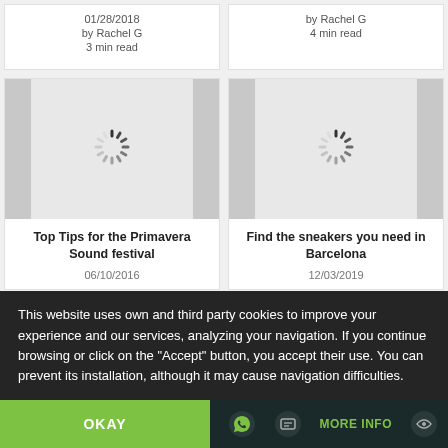01/28/2018 by Rachel G 3 min read
by Rachel G 4 min read
[Figure (screenshot): Card image placeholder with loading spinner for Top Tips for the Primavera Sound festival]
Top Tips for the Primavera Sound festival
06/10/2016
[Figure (screenshot): Card image placeholder with loading spinner for Find the sneakers you need in Barcelona]
Find the sneakers you need in Barcelona
12/03/2019
This website uses own and third party cookies to improve your experience and our services, analyzing your navigation. If you continue browsing or click on the "Accept" button, you accept their use. You can prevent its installation, although it may cause navigation difficulties.
OKAY
MORE INFO